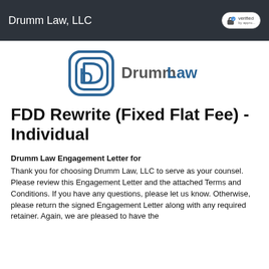Drumm Law, LLC
[Figure (logo): DrummLaw logo with stylized D icon in blue and gray text]
FDD Rewrite (Fixed Flat Fee) - Individual
Drumm Law Engagement Letter for
Thank you for choosing Drumm Law, LLC to serve as your counsel. Please review this Engagement Letter and the attached Terms and Conditions. If you have any questions, please let us know. Otherwise, please return the signed Engagement Letter along with any required retainer. Again, we are pleased to have the